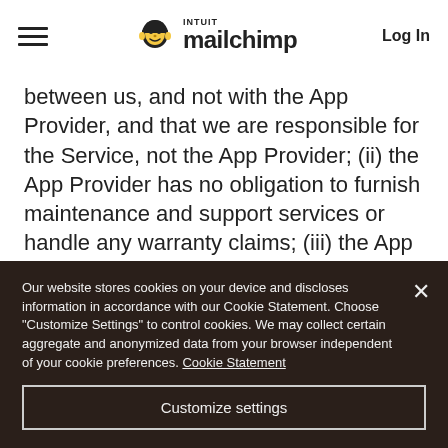Intuit Mailchimp — Log In
between us, and not with the App Provider, and that we are responsible for the Service, not the App Provider; (ii) the App Provider has no obligation to furnish maintenance and support services or handle any warranty claims; (iii) the App Provider is not responsible for addressing any claims you or any third party have relating to the App; and (iv) the App Provider is a third party beneficiary of the Terms related to your use of
Our website stores cookies on your device and discloses information in accordance with our Cookie Statement. Choose "Customize Settings" to control cookies. We may collect certain aggregate and anonymized data from your browser independent of your cookie preferences. Cookie Statement
Customize settings